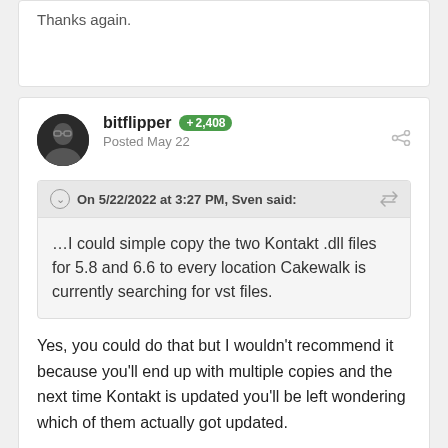Thanks again.
bitflipper +2,408 Posted May 22
On 5/22/2022 at 3:27 PM, Sven said: …I could simple copy the two Kontakt .dll files for 5.8 and 6.6 to every location Cakewalk is currently searching for vst files.
Yes, you could do that but I wouldn't recommend it because you'll end up with multiple copies and the next time Kontakt is updated you'll be left wondering which of them actually got updated.
That's what's great about symbolic links - you still have just